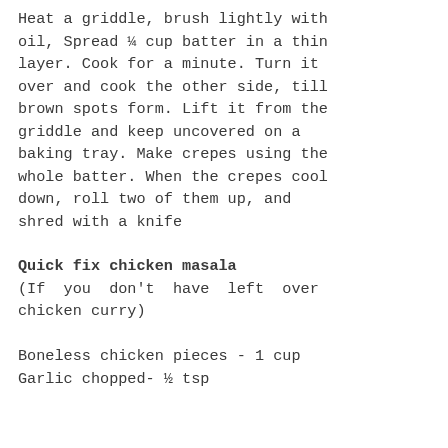Heat a griddle, brush lightly with oil, Spread ¼ cup batter in a thin layer. Cook for a minute. Turn it over and cook the other side, till brown spots form. Lift it from the griddle and keep uncovered on a baking tray. Make crepes using the whole batter. When the crepes cool down, roll two of them up, and shred with a knife
Quick fix chicken masala
(If you don't have left over chicken curry)
Boneless chicken pieces - 1 cup
Garlic chopped- ½ tsp